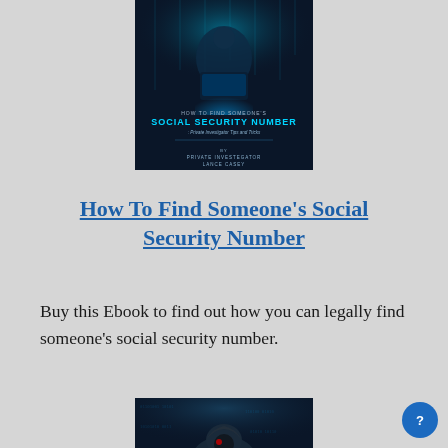[Figure (illustration): Book cover titled 'HOW TO FIND SOMEONE'S SOCIAL SECURITY NUMBER: Private Investigator Tips and Tricks' by Private Investigator Lance Casey, dark background with hacker silhouette]
How To Find Someone's Social Security Number
Buy this Ebook to find out how you can legally find someone's social security number.
[Figure (photo): Dark photo showing a hooded figure (hacker) with digital background]